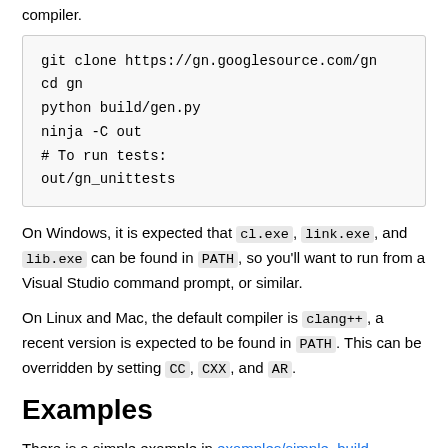compiler.
git clone https://gn.googlesource.com/gn
cd gn
python build/gen.py
ninja -C out
# To run tests:
out/gn_unittests
On Windows, it is expected that cl.exe, link.exe, and lib.exe can be found in PATH, so you'll want to run from a Visual Studio command prompt, or similar.
On Linux and Mac, the default compiler is clang++, a recent version is expected to be found in PATH. This can be overridden by setting CC, CXX, and AR.
Examples
There is a simple example in examples/simple_build directory that is a good place to get started with the minimal configuration.